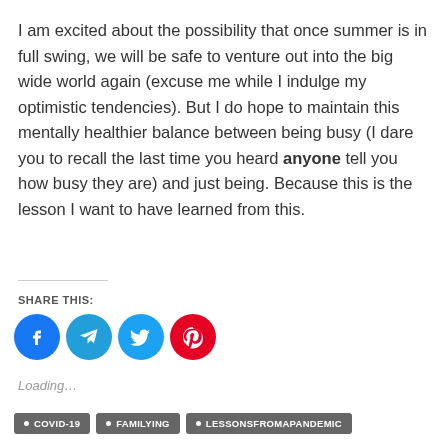I am excited about the possibility that once summer is in full swing, we will be safe to venture out into the big wide world again (excuse me while I indulge my optimistic tendencies). But I do hope to maintain this mentally healthier balance between being busy (I dare you to recall the last time you heard anyone tell you how busy they are) and just being. Because this is the lesson I want to have learned from this.
SHARE THIS:
[Figure (infographic): Four social share buttons: Facebook (blue circle with F icon), Telegram (dark blue circle with paper plane icon), Twitter (light blue circle with bird icon), Pinterest (red circle with P icon)]
Loading...
• COVID-19 • FAMILYING • LESSONSFROMAPANDEMIC